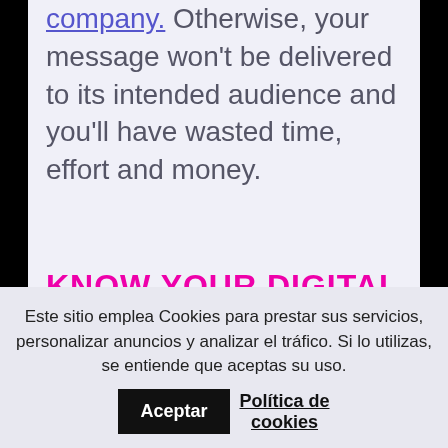that directly relate to your company. Otherwise, your message won't be delivered to its intended audience and you'll have wasted time, effort and money.
KNOW YOUR DIGITAL GOALS
The first step is clearly identifying which goals you want to achieve. Get specific. Do you want to increase brand awareness? Are you...
Este sitio emplea Cookies para prestar sus servicios, personalizar anuncios y analizar el tráfico. Si lo utilizas, se entiende que aceptas su uso. Aceptar Política de cookies